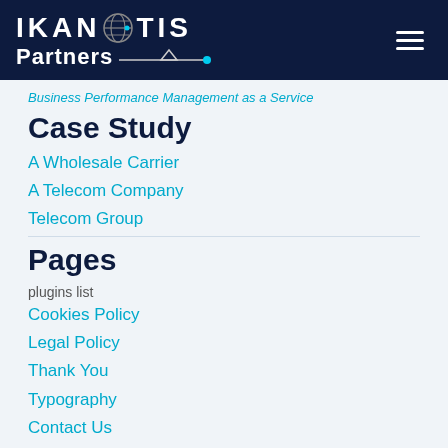IKANOTIS Partners
Business Performance Management as a Service
Case Study
A Wholesale Carrier
A Telecom Company
Telecom Group
Pages
plugins list
Cookies Policy
Legal Policy
Thank You
Typography
Contact Us